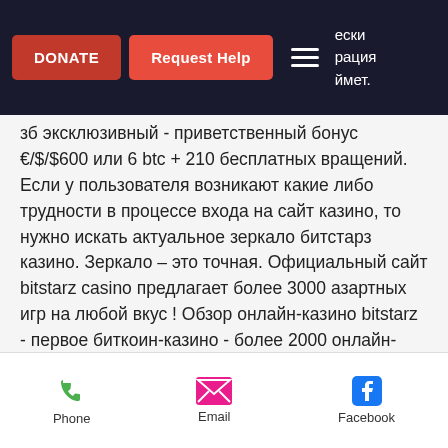DONATE | Request Help | ески рация ймет.
зб эксклюзивный - приветственный бонус €/$/$600 или 6 btc + 210 бесплатных вращений. Если у пользователя возникают какие либо трудности в процессе входа на сайт казино, то нужно искать актуальное зеркало битстарз казино. Зеркало – это точная. Официальный сайт bitstarz casino предлагает более 3000 азартных игр на любой вкус ! Обзор онлайн-казино bitstarz - первое биткоин-казино - более 2000 онлайн-слотов, live-игры, джекпоты, игры с btc - 20 фриспинов за регистрацию - бонусы на 4. Рабочее зеркало казино bitstarz. Высокие рейтинги, хорошая отдача, никаких проблем с выводом!
Phone | Email | Facebook